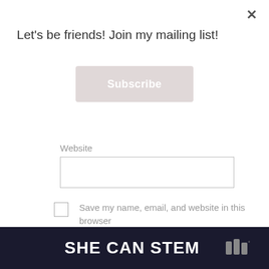×
Let's be friends! Join my mailing list!
[Figure (other): Subscribe button — muted pink/gray rounded rectangle with white bold text 'Subscribe']
Website
[Figure (other): Website text input field — empty white box with gray border]
Save my name, email, and website in this browser for the next time I comment.
Notify me of follow-up comments by email.
Notify me of new posts by email.
[Figure (other): POST COMMENT button — light gray rounded pill button with uppercase text 'POST COMMENT']
SHE CAN STEM